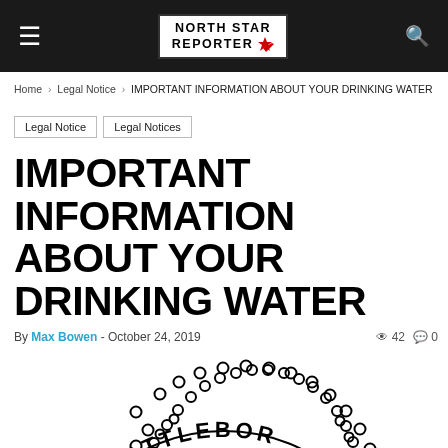NORTH STAR REPORTER
Home > Legal Notice > IMPORTANT INFORMATION ABOUT YOUR DRINKING WATER
Legal Notice
Legal Notices
IMPORTANT INFORMATION ABOUT YOUR DRINKING WATER
By Max Bowen - October 24, 2019   42   0
[Figure (illustration): Partial seal/emblem of North Attleboro, showing circular text reading 'OF NORTH ATTLEBOR' with decorative circular border and a central figure of a woman in classical dress]